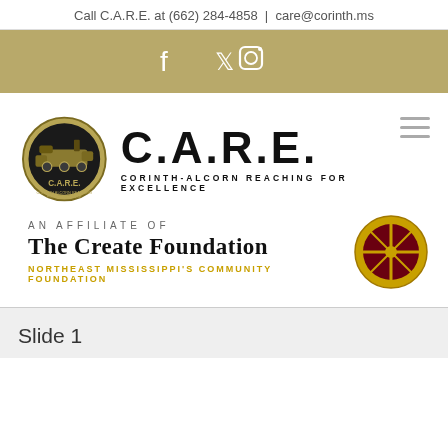Call C.A.R.E. at (662) 284-4858  |  care@corinth.ms
[Figure (infographic): Social media icons bar (Facebook, Twitter, Instagram) on gold/tan background]
[Figure (logo): C.A.R.E. logo - circular badge with steam locomotive and text 'C.A.R.E.' and 'CORINTH ALCORN REACHING FOR EXCELLENCE' alongside large C.A.R.E. text logo]
[Figure (logo): An Affiliate of The Create Foundation - Northeast Mississippi's Community Foundation, with compass rose logo]
Slide 1